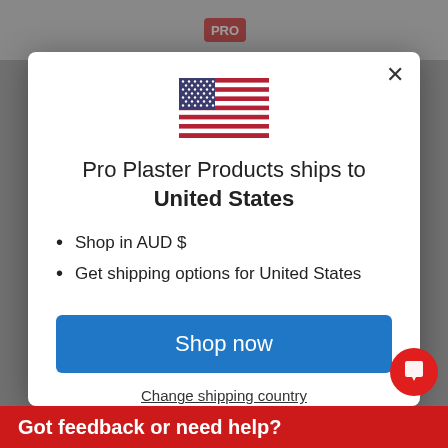Pro Plaster Products (website header with logo)
[Figure (screenshot): Modal dialog overlay on an e-commerce website showing a US flag, shipping information, and shop now button]
Pro Plaster Products ships to United States
Shop in AUD $
Get shipping options for United States
Shop now
Change shipping country
Got feedback or need help?